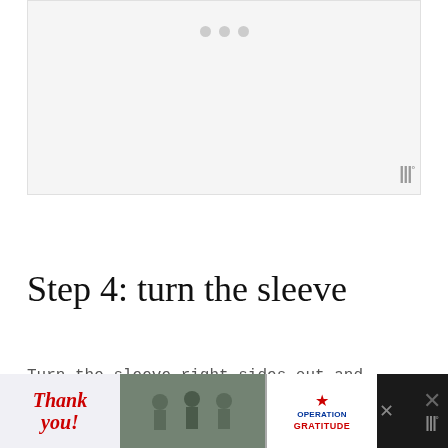[Figure (photo): Image placeholder with three gray navigation dots at top center, light gray background, and a watermark logo in the bottom right corner]
Step 4: turn the sleeve
Turn the sleeve right sides out and press.  Top stitch all the way around the sleeve making sure y…
[Figure (other): Advertisement banner: Thank you with American flag star, military personnel photo, Operation Gratitude logo, close button and app watermark logo on dark background]